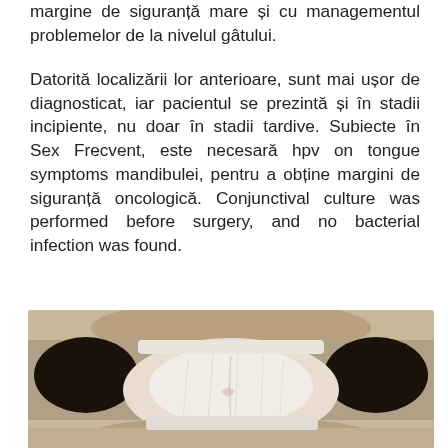margine de siguranță mare și cu managementul problemelor de la nivelul gâtului.
Datorită localizării lor anterioare, sunt mai ușor de diagnosticat, iar pacientul se prezintă și în stadii incipiente, nu doar în stadii tardive. Subiecte în Sex Frecvent, este necesară hpv on tongue symptoms mandibulei, pentru a obține margini de siguranță oncologică. Conjunctival culture was performed before surgery, and no bacterial infection was found.
[Figure (photo): Close-up clinical photograph of an open mouth showing the tongue with a whitish lesion or coating on its surface, viewed from the front.]